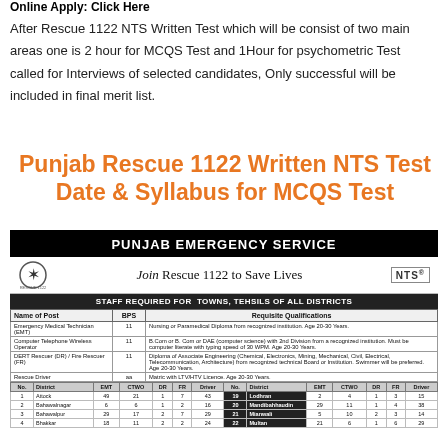Online Apply: Click Here
After Rescue 1122 NTS Written Test which will be consist of two main areas one is 2 hour for MCQS Test and 1Hour for psychometric Test called for Interviews of selected candidates, Only successful will be included in final merit list.
Punjab Rescue 1122 Written NTS Test Date & Syllabus for MCQS Test
[Figure (table-as-image): Punjab Emergency Service announcement - Join Rescue 1122 to Save Lives. Staff required for towns, tehsils of all districts. Table of posts (EMT, Computer Telephone Wireless Operator, DERT Rescuer/Fire Rescuer, Rescue Driver) with BPS grades and qualifications. District-wise staff numbers table showing EMT, CTWO, DR, FR, Driver counts for districts including Attock, Bahawalnagar, Bahawalpur, Bhakkar, Lodhran, Mandibahhaudin, Mianwali, Multan.]